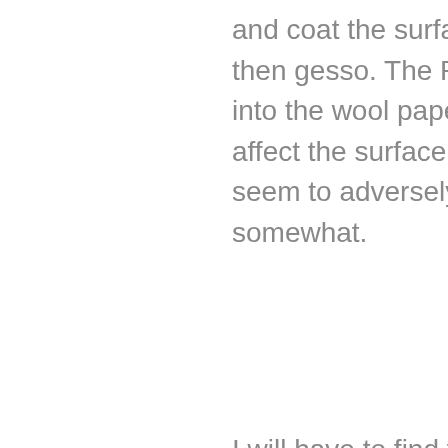and coat the surface with PVA glue and then gesso. The Pam absorbs better into the wool paper and doesn't seem to affect the surface. The vaseline does seem to adversely affect the surface somewhat.
I will have to find that Carole Sivin book. I have recently gotten Tile Decorating With Gemma, just to see if there was something interesting to learn about her, as well as The Art And Craft of Papier Mache by Juliet Bawden. I need longer days.
No news yet on the competition, they are supposed to send notification November 15th. I am